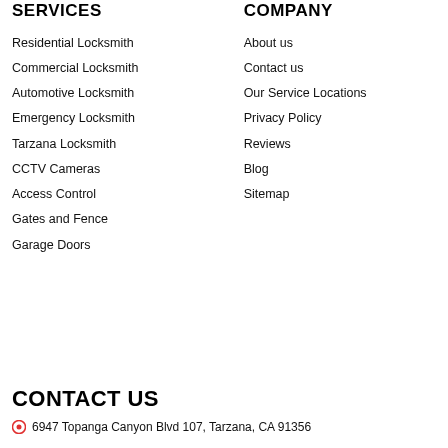SERVICES
Residential Locksmith
Commercial Locksmith
Automotive Locksmith
Emergency Locksmith
Tarzana Locksmith
CCTV Cameras
Access Control
Gates and Fence
Garage Doors
COMPANY
About us
Contact us
Our Service Locations
Privacy Policy
Reviews
Blog
Sitemap
CONTACT US
6947 Topanga Canyon Blvd 107, Tarzana, CA 91356